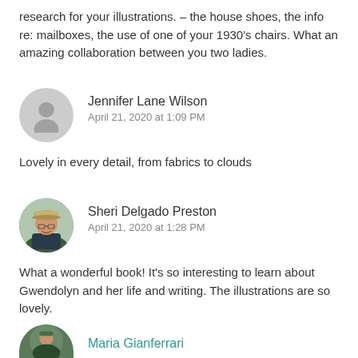research for your illustrations. – the house shoes, the info re: mailboxes, the use of one of your 1930's chairs. What an amazing collaboration between you two ladies.
[Figure (photo): Gray placeholder avatar circle for Jennifer Lane Wilson]
Jennifer Lane Wilson
April 21, 2020 at 1:09 PM
Lovely in every detail, from fabrics to clouds
[Figure (photo): Photo of Sheri Delgado Preston: a woman wearing a tan cap, smiling, outdoor background]
Sheri Delgado Preston
April 21, 2020 at 1:28 PM
What a wonderful book! It's so interesting to learn about Gwendolyn and her life and writing. The illustrations are so lovely.
[Figure (photo): Partial photo of Maria Gianferrari at bottom of page]
Maria Gianferrari